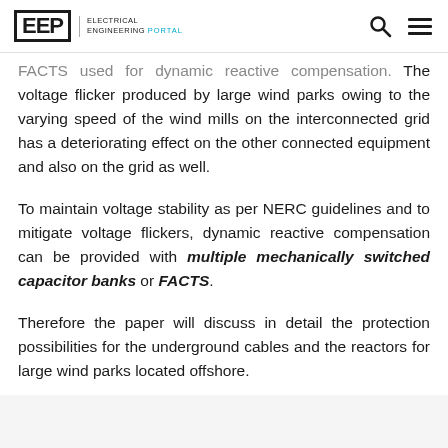EEP | ELECTRICAL ENGINEERING PORTAL
FACTS used for dynamic reactive compensation. The voltage flicker produced by large wind parks owing to the varying speed of the wind mills on the interconnected grid has a deteriorating effect on the other connected equipment and also on the grid as well.
To maintain voltage stability as per NERC guidelines and to mitigate voltage flickers, dynamic reactive compensation can be provided with multiple mechanically switched capacitor banks or FACTS.
Therefore the paper will discuss in detail the protection possibilities for the underground cables and the reactors for large wind parks located offshore.